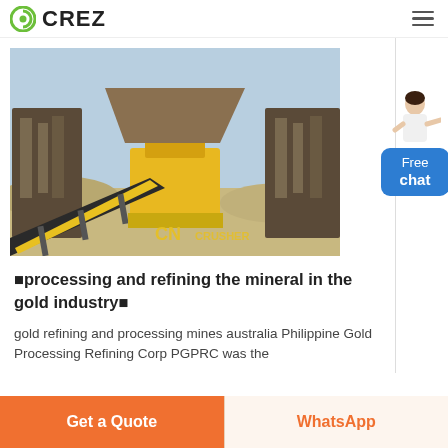CREZ
[Figure (photo): Mining/crushing facility with yellow conveyor belt and heavy machinery, sandy ground, watermarked with 'CN CRUSHER']
■processing and refining the mineral in the gold industry■
gold refining and processing mines australia Philippine Gold Processing Refining Corp PGPRC was the